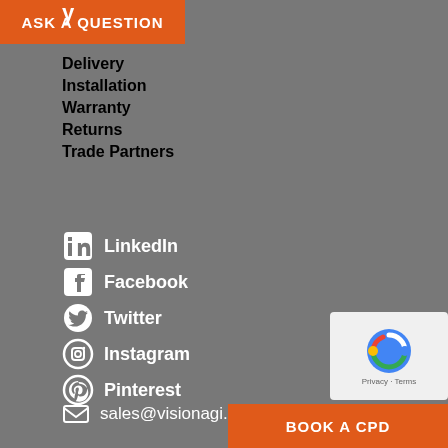Delivery
Installation
Warranty
Returns
Trade Partners
LinkedIn
Facebook
Twitter
Instagram
Pinterest
sales@visionagi.co.uk
ASK A QUESTION
BOOK A CPD